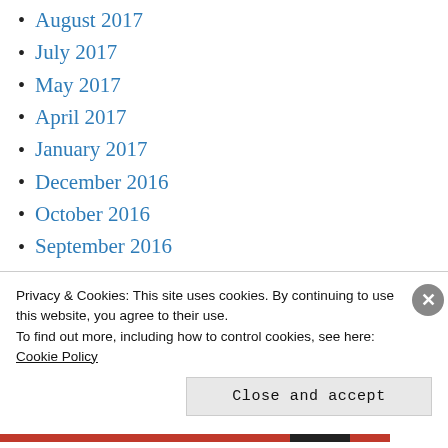August 2017
July 2017
May 2017
April 2017
January 2017
December 2016
October 2016
September 2016
August 2016
April 2016
March 2016
Privacy & Cookies: This site uses cookies. By continuing to use this website, you agree to their use. To find out more, including how to control cookies, see here: Cookie Policy
Close and accept